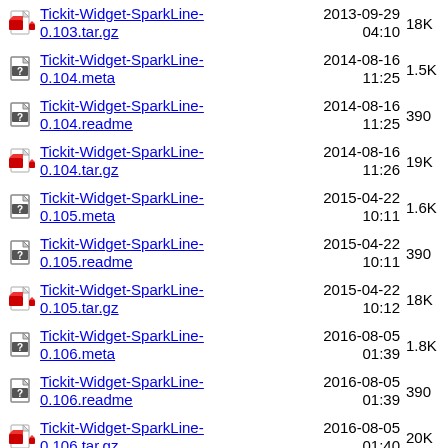Tickit-Widget-SparkLine-0.103.tar.gz  2013-09-29 04:10  18K
Tickit-Widget-SparkLine-0.104.meta  2014-08-16 11:25  1.5K
Tickit-Widget-SparkLine-0.104.readme  2014-08-16 11:25  390
Tickit-Widget-SparkLine-0.104.tar.gz  2014-08-16 11:26  19K
Tickit-Widget-SparkLine-0.105.meta  2015-04-22 10:11  1.6K
Tickit-Widget-SparkLine-0.105.readme  2015-04-22 10:11  390
Tickit-Widget-SparkLine-0.105.tar.gz  2015-04-22 10:12  18K
Tickit-Widget-SparkLine-0.106.meta  2016-08-05 01:39  1.8K
Tickit-Widget-SparkLine-0.106.readme  2016-08-05 01:39  390
Tickit-Widget-SparkLine-0.106.tar.gz  2016-08-05 01:40  20K
Tickit-Widget-Statusbar-0.001.meta  2013-09-01 11:56  1.6K